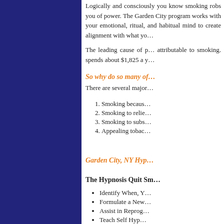Logically and consciously you know smoking robs you of power. The Garden City Hypnosis program works with your emotional, ritual, and habitual mind to create alignment with what yo…
The leading cause of preventable death is attributable to smoking. The average smoker spends about $1,825 a y…
So why do so many of…
There are several major…
Smoking becaus…
Smoking to relie…
Smoking to subs…
Appealing tobac…
Garden City, NY Hyp…
The Hypnosis Quit Sm…
Identify When, Y…
Formulate a New…
Assist in Reprog…
Teach Self Hyp…